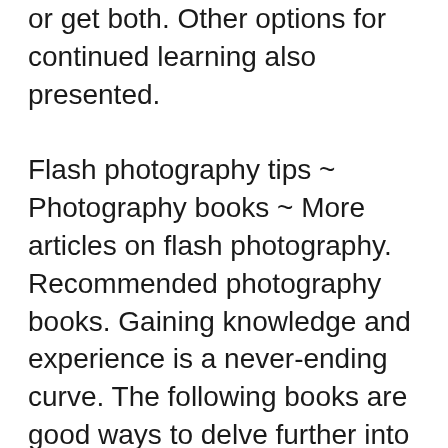or get both. Other options for continued learning also presented.
Flash photography tips ~ Photography books ~ More articles on flash photography. Recommended photography books. Gaining knowledge and experience is a never-ending curve. The following books are good ways to delve further into the subject of lighting, as well as some other related photography topics, including wedding photography. 07/01/2019B B· The only book you need to learn Affinity Photo completely. This is a comprehensive book that covers the user interface, functionality, techniques and comes with detailed step by step tutorials